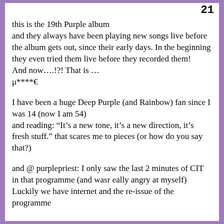21
this is the 19th Purple album
and they always have been playing new songs live before the album gets out, since their early days. In the beginning they even tried them live before they recorded them!
And now….!?! That is …
μ****€
I have been a huge Deep Purple (and Rainbow) fan since I was 14 (now I am 54)
and reading: “It’s a new tone, it’s a new direction, it’s fresh stuff.” that scares me to pieces (or how do you say that?)
and @ purplepriest: I only saw the last 2 minutes of CIT in that programme (and wasr eally angry at myself) Luckily we have internet and the re-issue of the programme